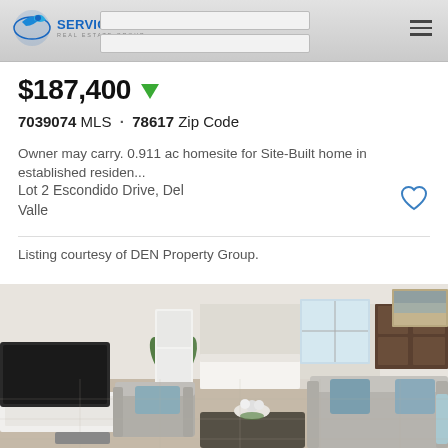[Figure (logo): Service First Real Estate Group logo with blue bird/globe icon]
$187,400 ▼
7039074 MLS · 78617 Zip Code
Owner may carry. 0.911 ac homesite for Site-Built home in established residen...
Lot 2 Escondido Drive, Del Valle
Listing courtesy of DEN Property Group.
[Figure (photo): Interior photo of a modern living room with gray sofas, a plant, TV on white stand, kitchen visible in background]